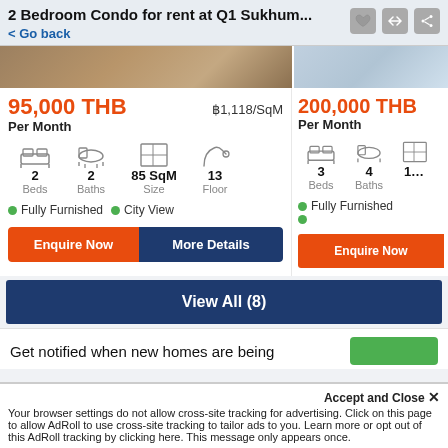2 Bedroom Condo for rent at Q1 Sukhum...
< Go back
95,000 THB Per Month ฿1,118/SqM — 2 Beds, 2 Baths, 85 SqM, Floor 13 — Fully Furnished • City View
200,000 THB Per Month — 3 Beds, 4 Baths — Fully Furnished
View All (8)
Get notified when new homes are being
Accept and Close ×
Your browser settings do not allow cross-site tracking for advertising. Click on this page to allow AdRoll to use cross-site tracking to tailor ads to you. Learn more or opt out of this AdRoll tracking by clicking here. This message only appears once.